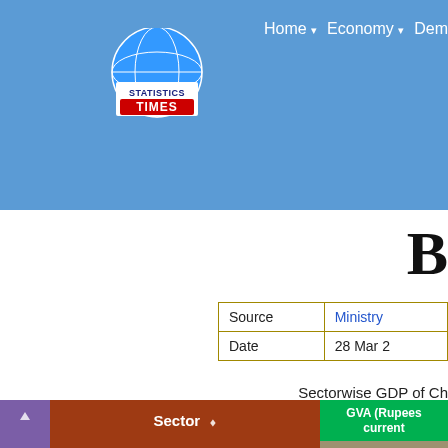Statistics Times - Home, Economy, Demographics navigation
[Figure (logo): Statistics Times logo with globe and red/white TIMES text]
B
|  |  |
| --- | --- |
| Source | Ministry |
| Date | 28 Mar 2 |
Sectorwise GDP of Ch
|  | Sector | GVA (Rupees current | 2018-19 |
| --- | --- | --- | --- |
| 1 | Primary Sector | 20,593 |
| 1.1 | Agriculture, forestry & fishing | 20,593 |
| 1.11 | Crops | 1,650 |